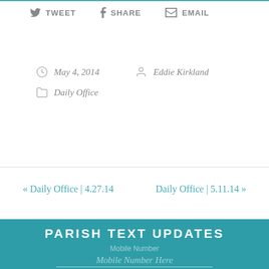TWEET
SHARE
EMAIL
May 4, 2014   Eddie Kirkland   Daily Office
« Daily Office | 4.27.14   Daily Office | 5.11.14 »
PARISH TEXT UPDATES
Mobile Number
Mobile Number Here